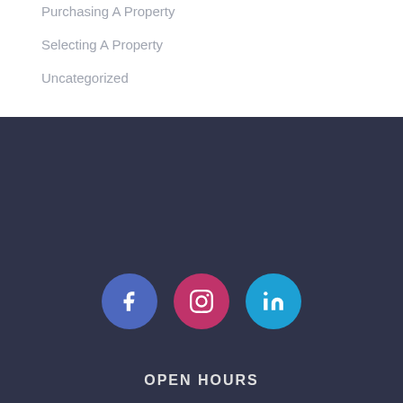Purchasing A Property
Selecting A Property
Uncategorized
[Figure (infographic): Three social media icons in circles: Facebook (blue), Instagram (pink/red), LinkedIn (light blue) displayed in the dark footer section]
OPEN HOURS